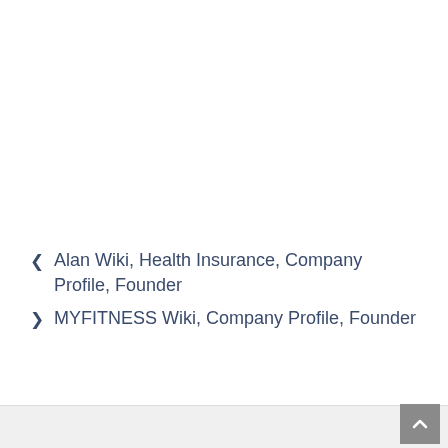< Alan Wiki, Health Insurance, Company Profile, Founder
> MYFITNESS Wiki, Company Profile, Founder